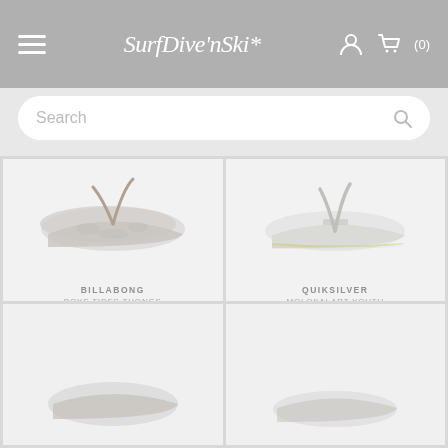SurfDive'nSki* (0)
Search
[Figure (photo): Billabong Boys Tides Thongs flip flop sandal, grey/white camo pattern, viewed from side]
BILLABONG
BOYS TIDES THONGS
$19.99 $11.99
[Figure (photo): Quiksilver Molokai Art Youth flip flop sandal, white with grey striped sole, viewed from side]
QUIKSILVER
MOLOKAI ART YOUTH
$18.99 $13.29
[Figure (photo): Partial view of product image bottom left]
[Figure (photo): Partial view of product image bottom right]